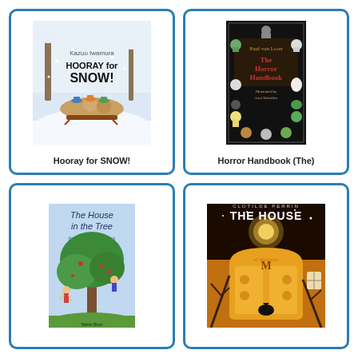[Figure (illustration): Book cover of 'Hooray for SNOW!' by Kazuo Iwamura, showing illustrated animals sledding in snow]
Hooray for SNOW!
[Figure (illustration): Book cover of 'The Horror Handbook (The)' by Paul van Loon, black cover with illustrated monster characters]
Horror Handbook (The)
[Figure (illustration): Book cover of 'The House in the Tree' by Bianca Pitzorno, illustrated children's book with tree and children]
[Figure (illustration): Book cover of 'The House of Madness' by Clotilde Perrin, dark atmospheric cover with yellow door and crow]